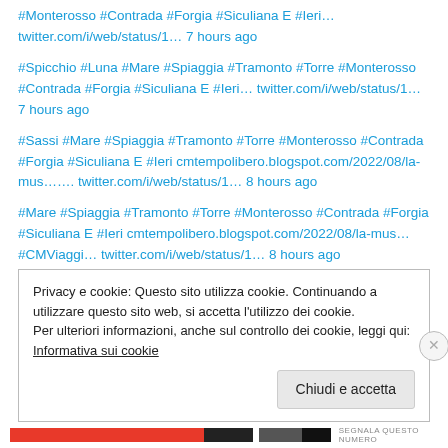#Monterosso #Contrada #Forgia #Siculiana E #Ieri… twitter.com/i/web/status/1… 7 hours ago
#Spicchio #Luna #Mare #Spiaggia #Tramonto #Torre #Monterosso #Contrada #Forgia #Siculiana E #Ieri… twitter.com/i/web/status/1… 7 hours ago
#Sassi #Mare #Spiaggia #Tramonto #Torre #Monterosso #Contrada #Forgia #Siculiana E #Ieri cmtempolibero.blogspot.com/2022/08/la-mus……. twitter.com/i/web/status/1… 8 hours ago
#Mare #Spiaggia #Tramonto #Torre #Monterosso #Contrada #Forgia #Siculiana E #Ieri cmtempolibero.blogspot.com/2022/08/la-mus… #CMViaggi… twitter.com/i/web/status/1… 8 hours ago
Privacy e cookie: Questo sito utilizza cookie. Continuando a utilizzare questo sito web, si accetta l'utilizzo dei cookie.
Per ulteriori informazioni, anche sul controllo dei cookie, leggi qui:
Informativa sui cookie
Chiudi e accetta